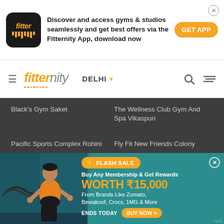[Figure (screenshot): App install banner with Fitter logo, text 'Discover and access gyms & studios seamlessly and get best offers via the Fitternity App, download now', GET APP button, and close button]
[Figure (logo): Fitternity navigation bar with hamburger menu, fitternity logo, DELHI location selector, search icon, and filter icon]
Black's Gym Saket
Pacific Sports Complex Rohini
Seven Pillars Fitness Punjabi Bagh
The Wellness Club Gym And Spa Vikaspuri
Fly Fit New Friends Colony
Father Of Fitness Anand Vihar
[Figure (infographic): Flash sale promotional banner on teal background with man exercising with battle ropes. Text: FLASH SALE, Buy Any Membership & Get Rewards WORTH ₹15,000 From Brands Like Zomato, Bewakoof, Crocs, 1MG & More. ENDS TODAY BUY NOW > *1CA]